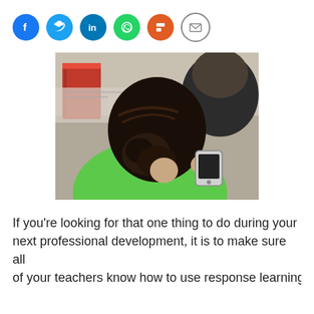[Figure (other): Row of social media sharing icon buttons: Facebook (blue), Twitter (blue), LinkedIn (blue), WhatsApp (green), Flipboard (red), Email (white/grey outline)]
[Figure (photo): A student seen from behind wearing a green shirt, with dark hair in a bun, holding a mobile phone/device, in what appears to be a classroom setting with a red binder visible in the background.]
If you’re looking for that one thing to do during your next professional development, it is to make sure all of your teachers know how to use response learning